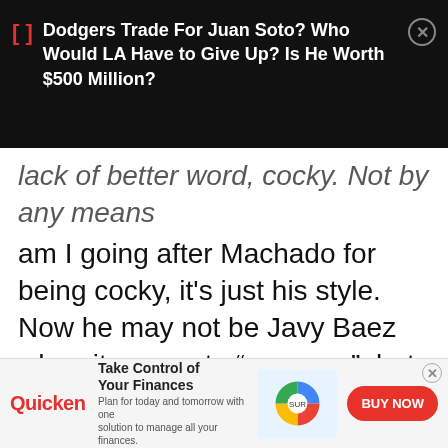[Figure (screenshot): Top dark banner advertisement with bracket icon and headline: Dodgers Trade For Juan Soto? Who Would LA Have to Give Up? Is He Worth $500 Million? with close button]
lack of better word, cocky. Not by any means am I going after Machado for being cocky, it's just his style. Now he may not be Javy Baez when it comes to “swagger”, but he’ll sink the line, and as a baseball fan, you’re all over that hook.
The scouting bureau gave Machado a grade of
[Figure (screenshot): Bottom advertisement for Quicken: Take Control of Your Finances - Plan for today and tomorrow with one solution to manage all your finances. BUY NOW button.]